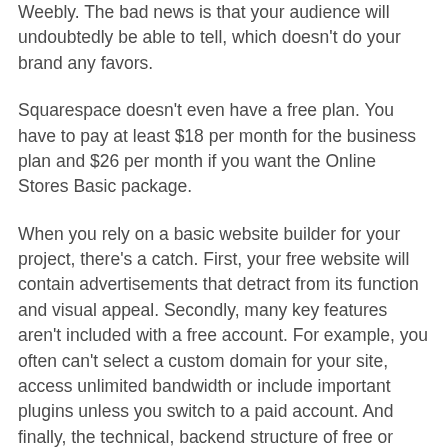Weebly. The bad news is that your audience will undoubtedly be able to tell, which doesn't do your brand any favors.
Squarespace doesn't even have a free plan. You have to pay at least $18 per month for the business plan and $26 per month if you want the Online Stores Basic package.
When you rely on a basic website builder for your project, there's a catch. First, your free website will contain advertisements that detract from its function and visual appeal. Secondly, many key features aren't included with a free account. For example, you often can't select a custom domain for your site, access unlimited bandwidth or include important plugins unless you switch to a paid account. And finally, the technical, backend structure of free or minimum payment web design